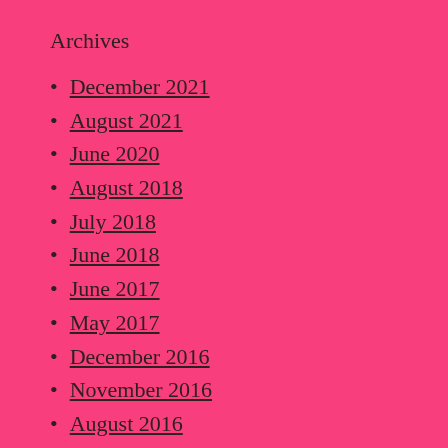Archives
December 2021
August 2021
June 2020
August 2018
July 2018
June 2018
June 2017
May 2017
December 2016
November 2016
August 2016
July 2016
June 2016
May 2016